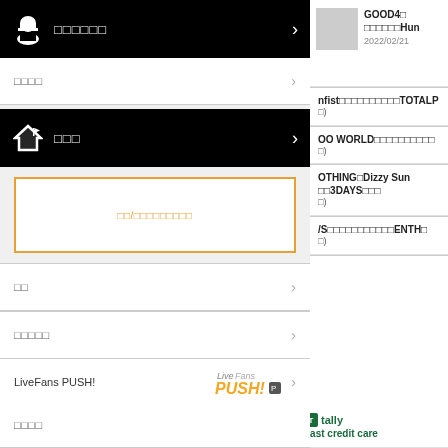[Figure (screenshot): Mobile app menu screenshot with black navigation bars, menu list items with Japanese text and arrows, orange-bordered input box, LiveFans PUSH! branding, and right column with news/content items]
□□□□□□
□□□□
□□□
□□/□□□□□□□□□
□□
□□□□□
LiveFans PUSH!
□□□□□□□□
□□□□
GOOD4□
□□□□□□Hun
2022/02/21
nfist□□□□□□□□□□TOTALP
□)
OO WORLD□□□□□□□□□□
□)
OTHING□Dizzy Sun
□□3DAYS□□□
□)
/S□□□□□□□□□□□ENTH□
□)
Fast credit care